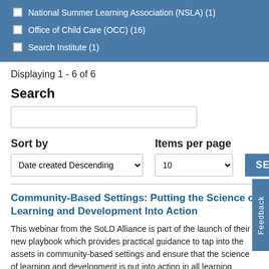National Summer Learning Association (NSLA) (1)
Office of Child Care (OCC) (16)
Search Institute (1)
Displaying 1 - 6 of 6
Search
Sort by
Items per page
Community-Based Settings: Putting the Science of Learning and Development Into Action
This webinar from the SoLD Alliance is part of the launch of their new playbook which provides practical guidance to tap into the assets in community-based settings and ensure that the science of learning and development is put into action in all learning settings.